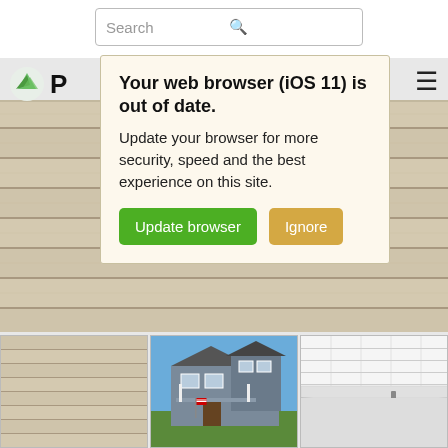[Figure (screenshot): Website navigation bar with search box containing placeholder text 'Search' and a search icon]
[Figure (screenshot): Browser update notification popup with cream/beige background. Title: 'Your web browser (iOS 11) is out of date.' Body: 'Update your browser for more security, speed and the best experience on this site.' Two buttons: 'Update browser' (green) and 'Ignore' (gold/orange)]
Your web browser (iOS 11) is out of date.
Update your browser for more security, speed and the best experience on this site.
Update browser
Ignore
[Figure (photo): Close-up of tan/beige vinyl or composite siding horizontal panels]
[Figure (photo): Thumbnail of tan/beige horizontal siding panels]
[Figure (photo): Thumbnail of a two-story house with gray siding and covered front porch]
[Figure (photo): Thumbnail of white trim/fascia detail on a roofline]